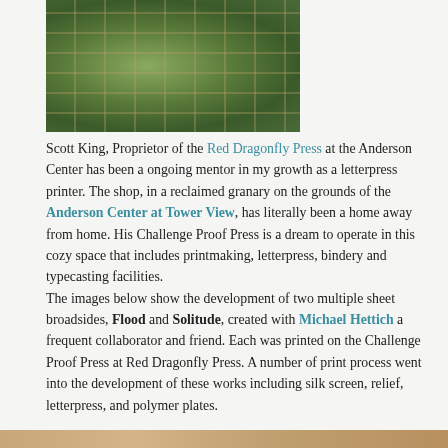[Figure (photo): Photograph of a greenhouse or conservatory window with metal grids, lush green foliage visible through the glass panels]
Scott King, Proprietor of the Red Dragonfly Press at the Anderson Center has been a ongoing mentor in my growth as a letterpress printer. The shop, in a reclaimed granary on the grounds of the Anderson Center at Tower View, has literally been a home away from home. His Challenge Proof Press is a dream to operate in this cozy space that includes printmaking, letterpress, bindery and typecasting facilities.
The images below show the development of two multiple sheet broadsides, Flood and Solitude, created with Michael Hettich a frequent collaborator and friend. Each was printed on the Challenge Proof Press at Red Dragonfly Press. A number of print process went into the development of these works including silk screen, relief, letterpress, and polymer plates.
[Figure (photo): Partial image at bottom of page, warm-toned photograph, content partially cut off]